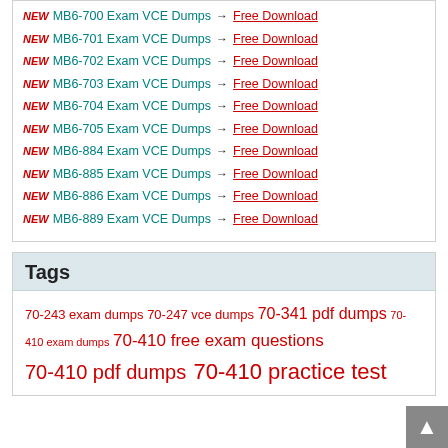NEW MB6-700 Exam VCE Dumps → Free Download
NEW MB6-701 Exam VCE Dumps → Free Download
NEW MB6-702 Exam VCE Dumps → Free Download
NEW MB6-703 Exam VCE Dumps → Free Download
NEW MB6-704 Exam VCE Dumps → Free Download
NEW MB6-705 Exam VCE Dumps → Free Download
NEW MB6-884 Exam VCE Dumps → Free Download
NEW MB6-885 Exam VCE Dumps → Free Download
NEW MB6-886 Exam VCE Dumps → Free Download
NEW MB6-889 Exam VCE Dumps → Free Download
Tags
70-243 exam dumps 70-247 vce dumps 70-341 pdf dumps 70-410 exam dumps 70-410 free exam questions 70-410 pdf dumps 70-410 practice test